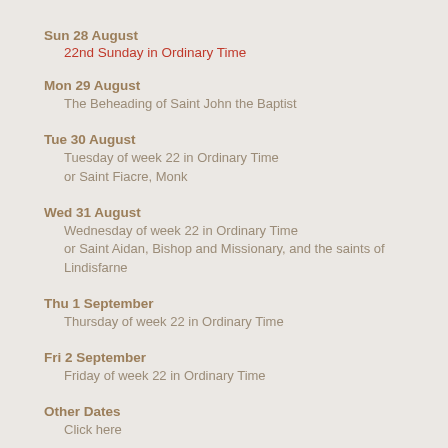Sun 28 August
22nd Sunday in Ordinary Time
Mon 29 August
The Beheading of Saint John the Baptist
Tue 30 August
Tuesday of week 22 in Ordinary Time
or Saint Fiacre, Monk
Wed 31 August
Wednesday of week 22 in Ordinary Time
or Saint Aidan, Bishop and Missionary, and the saints of Lindisfarne
Thu 1 September
Thursday of week 22 in Ordinary Time
Fri 2 September
Friday of week 22 in Ordinary Time
Other Dates
Click here
Calendar used
Ireland